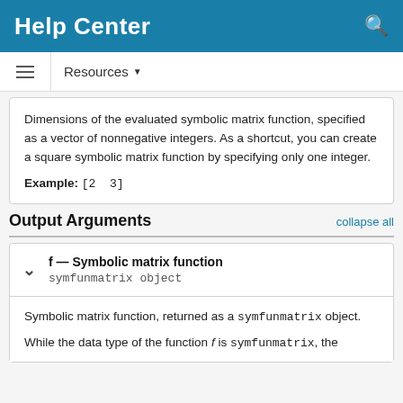Help Center
Resources
Dimensions of the evaluated symbolic matrix function, specified as a vector of nonnegative integers. As a shortcut, you can create a square symbolic matrix function by specifying only one integer.
Example: [2  3]
Output Arguments
f — Symbolic matrix function
symfunmatrix object
Symbolic matrix function, returned as a symfunmatrix object.
While the data type of the function f is symfunmatrix, the